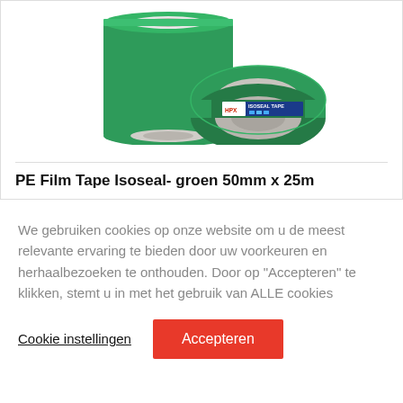[Figure (photo): Two rolls of HPX Isoseal PE Film Tape in green color, showing the branded label with 'ISOSEAL TAPE' text on a blue/white label.]
PE Film Tape Isoseal- groen 50mm x 25m
We gebruiken cookies op onze website om u de meest relevante ervaring te bieden door uw voorkeuren en herhaalbezoeken te onthouden. Door op "Accepteren" te klikken, stemt u in met het gebruik van ALLE cookies
Cookie instellingen
Accepteren